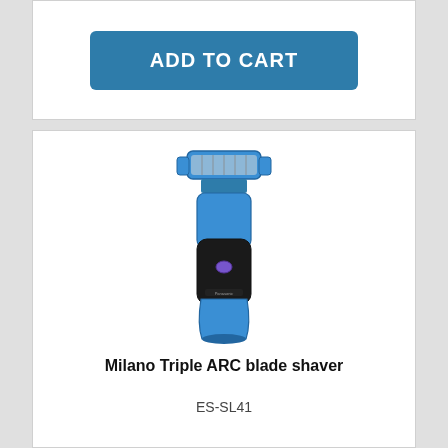ADD TO CART
[Figure (illustration): Blue and black Milano Triple ARC blade electric shaver product image]
Milano Triple ARC blade shaver
ES-SL41